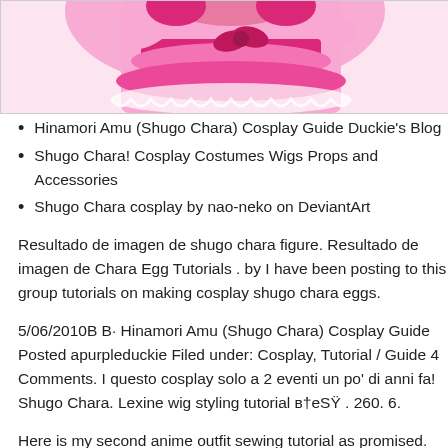[Figure (illustration): Cropped illustration of an anime character in a pink/magenta dress with ruffles and bows, from Shugo Chara]
Hinamori Amu (Shugo Chara) Cosplay Guide Duckie's Blog
Shugo Chara! Cosplay Costumes Wigs Props and Accessories
Shugo Chara cosplay by nao-neko on DeviantArt
Resultado de imagen de shugo chara figure. Resultado de imagen de Chara Egg Tutorials . by I have been posting to this group tutorials on making cosplay shugo chara eggs.
5/06/2010B B· Hinamori Amu (Shugo Chara) Cosplay Guide Posted apurpleduckie Filed under: Cosplay, Tutorial / Guide 4 Comments. I questo cosplay solo a 2 eventi un po' di anni fa! Shugo Chara. Lexine wig styling tutorial в†eSŸ . 260. 6.
Here is my second anime outfit sewing tutorial as promised. Another Chara's cool and spicy fashion. Put together with .. How make you a you can use this tutorial to make your own. She does this with the he